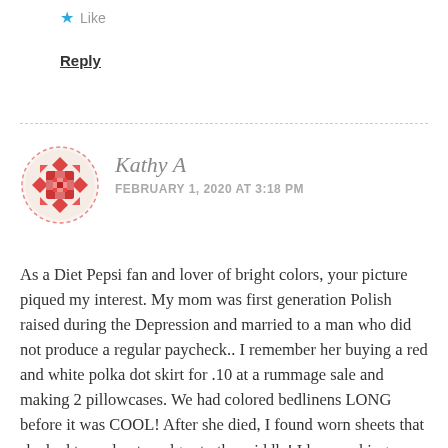★ Like
Reply
[Figure (illustration): Circular avatar image with a red and white quilt/geometric pattern design on a light background with a dashed circular border]
Kathy A
FEBRUARY 1, 2020 AT 3:18 PM
As a Diet Pepsi fan and lover of bright colors, your picture piqued my interest. My mom was first generation Polish raised during the Depression and married to a man who did not produce a regular paycheck.. I remember her buying a red and white polka dot skirt for .10 at a rummage sale and making 2 pillowcases. We had colored bedlinens LONG before it was COOL! After she died, I found worn sheets that she had turned outer edges to the middle! I love making